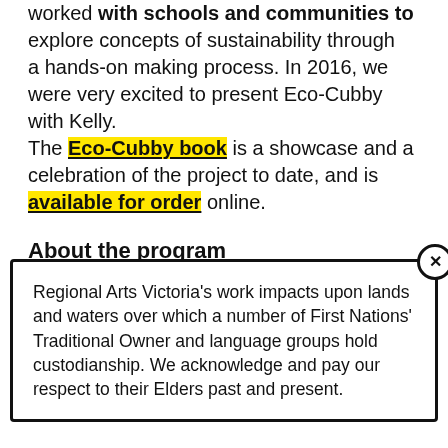worked with schools and communities to explore concepts of sustainability through a hands-on making process. In 2016, we were very excited to present Eco-Cubby with Kelly. The Eco-Cubby book is a showcase and a celebration of the project to date, and is available for order online.
About the program
Schools and communities worked with a facilitator to together and do their...
Regional Arts Victoria's work impacts upon lands and waters over which a number of First Nations' Traditional Owner and language groups hold custodianship. We acknowledge and pay our respect to their Elders past and present.